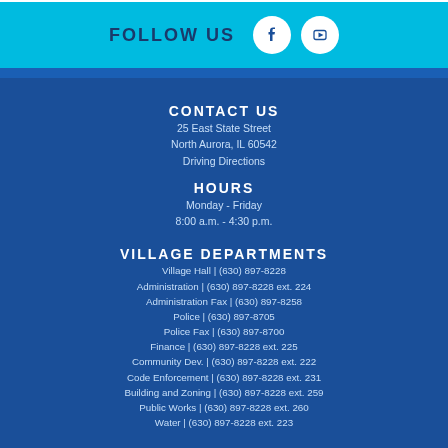FOLLOW US
CONTACT US
25 East State Street
North Aurora, IL 60542
Driving Directions
HOURS
Monday - Friday
8:00 a.m. - 4:30 p.m.
VILLAGE DEPARTMENTS
Village Hall | (630) 897-8228
Administration | (630) 897-8228 ext. 224
Administration Fax | (630) 897-8258
Police | (630) 897-8705
Police Fax | (630) 897-8700
Finance | (630) 897-8228 ext. 225
Community Dev. | (630) 897-8228 ext. 222
Code Enforcement | (630) 897-8228 ext. 231
Building and Zoning | (630) 897-8228 ext. 259
Public Works | (630) 897-8228 ext. 260
Water | (630) 897-8228 ext. 223